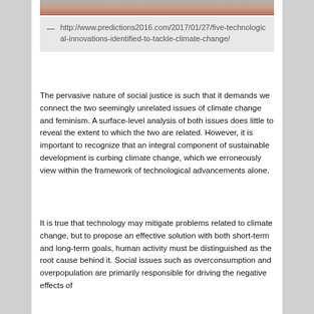[Figure (photo): Partial view of a photo at the top of the page, showing blurred objects with gray and reddish-brown tones.]
— http://www.predictions2016.com/2017/01/27/five-technological-innovations-identified-to-tackle-climate-change/
The pervasive nature of social justice is such that it demands we connect the two seemingly unrelated issues of climate change and feminism. A surface-level analysis of both issues does little to reveal the extent to which the two are related. However, it is important to recognize that an integral component of sustainable development is curbing climate change, which we erroneously view within the framework of technological advancements alone.
It is true that technology may mitigate problems related to climate change, but to propose an effective solution with both short-term and long-term goals, human activity must be distinguished as the root cause behind it. Social issues such as overconsumption and overpopulation are primarily responsible for driving the negative effects of